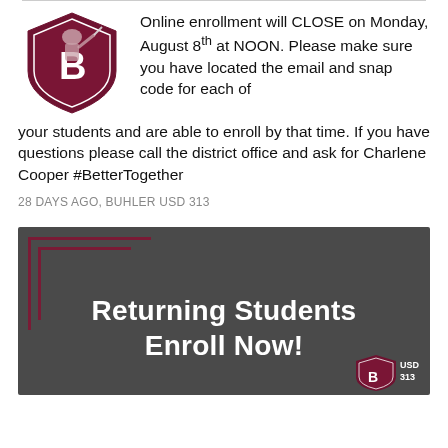Online enrollment will CLOSE on Monday, August 8th at NOON. Please make sure you have located the email and snap code for each of your students and are able to enroll by that time. If you have questions please call the district office and ask for Charlene Cooper #BetterTogether
28 DAYS AGO, BUHLER USD 313
[Figure (infographic): Dark gray banner with maroon corner bracket decorations and bold white text reading 'Returning Students Enroll Now!' with USD 313 logo at bottom right]